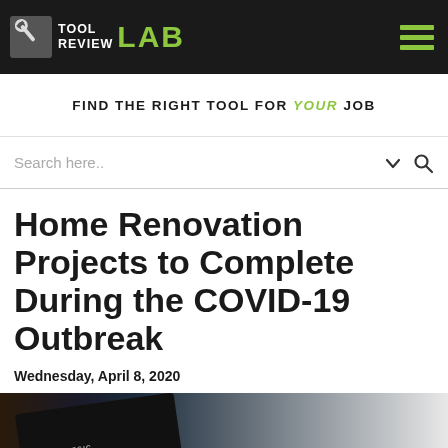TOOL REVIEW LAB
FIND THE RIGHT TOOL FOR YOUR JOB
Search here..
Home Renovation Projects to Complete During the COVID-19 Outbreak
Wednesday, April 8, 2020
[Figure (photo): Color paint swatches fan deck labeled CLASSIC colors, showing a rainbow of paint chip samples]